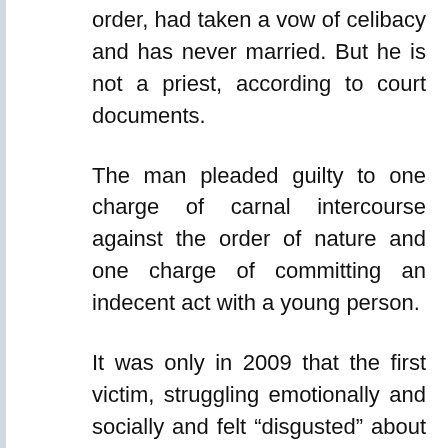order, had taken a vow of celibacy and has never married. But he is not a priest, according to court documents.
The man pleaded guilty to one charge of carnal intercourse against the order of nature and one charge of committing an indecent act with a young person.
It was only in 2009 that the first victim, struggling emotionally and socially and felt “disgusted” about the sexual acts the offender had done, confided in the sector leader of the Catholic order in Singapore. But he refused to escalate the matter.
The offender was questioned by his religious superior about the allegations and sent to the